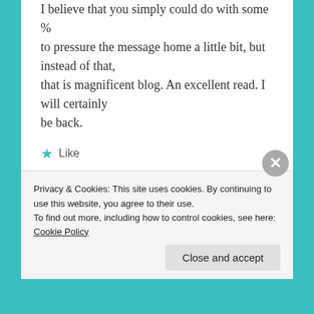I believe that you simply could do with some % to pressure the message home a little bit, but instead of that, that is magnificent blog. An excellent read. I will certainly be back.
Like
ENIGMA   October 23, 2016 at 1:12 pm   LOG IN TO REPLY
Wow, this is quite something. So well
Privacy & Cookies: This site uses cookies. By continuing to use this website, you agree to their use.
To find out more, including how to control cookies, see here: Cookie Policy
Close and accept